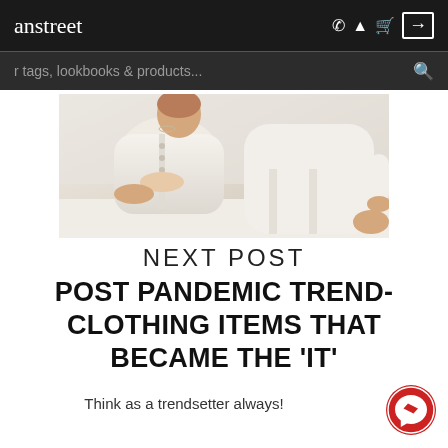anstreet
[Figure (screenshot): Navigation bar with brand name anstreet, phone, bell, cart and login icons on dark background]
[Figure (photo): Two people wearing cream/white knit casual clothing sitting on a white surface]
NEXT POST
POST PANDEMIC TREND- CLOTHING ITEMS THAT BECAME THE 'IT'
Think as a trendsetter always!
[Figure (logo): Facebook Messenger red circular button in the bottom right corner]